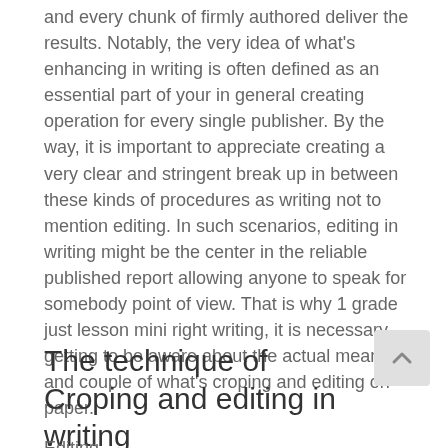and every chunk of firmly authored deliver the results. Notably, the very idea of what's enhancing in writing is often defined as an essential part of your in general creating operation for every single publisher. By the way, it is important to appreciate creating a very clear and stringent break up in between these kinds of procedures as writing not to mention editing. In such scenarios, editing in writing might be the center in the reliable published report allowing anyone to speak for somebody point of view. That is why 1 grade just lesson mini right writing, it is necessary getting to be aware about the actual meaning and couple of what's croping and editing on paper.
The technique of Croping and editing in writing
Editing...